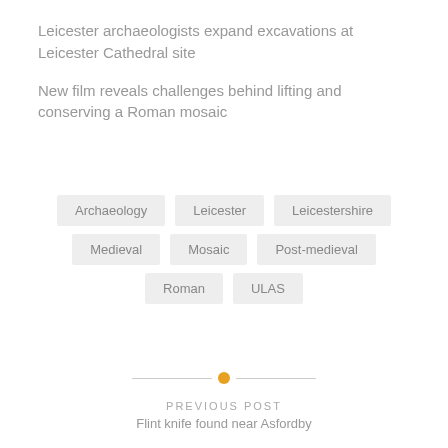Leicester archaeologists expand excavations at Leicester Cathedral site
New film reveals challenges behind lifting and conserving a Roman mosaic
Archaeology  Leicester  Leicestershire  Medieval  Mosaic  Post-medieval  Roman  ULAS
PREVIOUS POST
Flint knife found near Asfordby